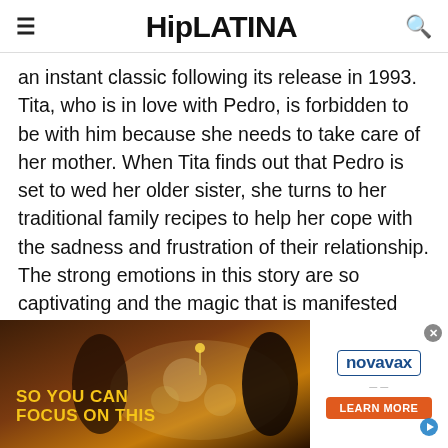HipLATINA
an instant classic following its release in 1993. Tita, who is in love with Pedro, is forbidden to be with him because she needs to take care of her mother. When Tita finds out that Pedro is set to wed her older sister, she turns to her traditional family recipes to help her cope with the sadness and frustration of their relationship. The strong emotions in this story are so captivating and the magic that is manifested through Tita's cooking is what keeps us interested from start to finish.
[Figure (screenshot): Advertisement banner showing a dinner table scene with people in costumes with text 'SO YOU CAN FOCUS ON THIS' overlaid in yellow, alongside a Novavax advertisement with a Learn More button]